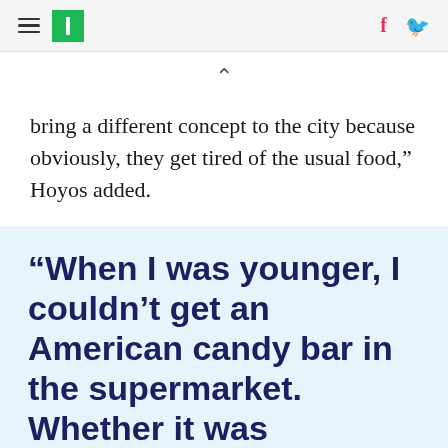HuffPost navigation with hamburger menu, logo, Facebook and Twitter icons
bring a different concept to the city because obviously, they get tired of the usual food,” Hoyos added.
“When I was younger, I couldn’t get an American candy bar in the supermarket. Whether it was